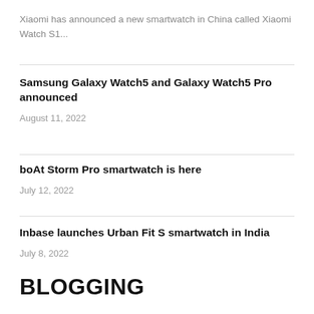Xiaomi has announced a new smartwatch in China called Xiaomi Watch S1...
Samsung Galaxy Watch5 and Galaxy Watch5 Pro announced
August 11, 2022
boAt Storm Pro smartwatch is here
July 12, 2022
Inbase launches Urban Fit S smartwatch in India
July 8, 2022
BLOGGING